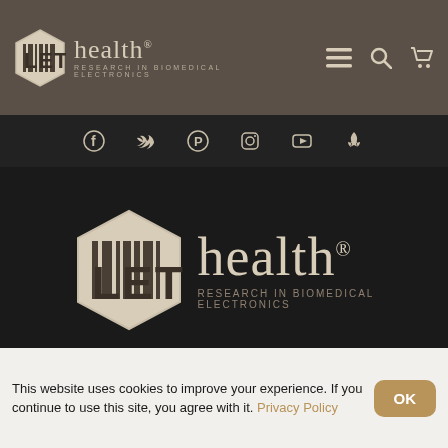[Figure (logo): LET Health logo in header bar with hexagon shape containing LET text, and 'health' brand name with RESEARCH IN BIOMEDICAL ELECTRONICS subtitle. Navigation icons: hamburger menu, search, and cart on the right.]
[Figure (logo): Social media icons bar: Facebook, Twitter, Pinterest, Instagram, YouTube, Yelp icons on dark background.]
[Figure (logo): Large LET Health logo centered on black background — hexagon with LET barcode-style text and 'health® RESEARCH IN BIOMEDICAL ELECTRONICS' brand text.]
© 2017 – 2022 All rights reserved. LET Health LLC. Developed by: Web-PROekt.com
SHOP
[Figure (illustration): Round phone call button icon with telephone handset and sound waves, in brown/tan circle on darker brown background.]
This website uses cookies to improve your experience. If you continue to use this site, you agree with it. Privacy Policy
OK